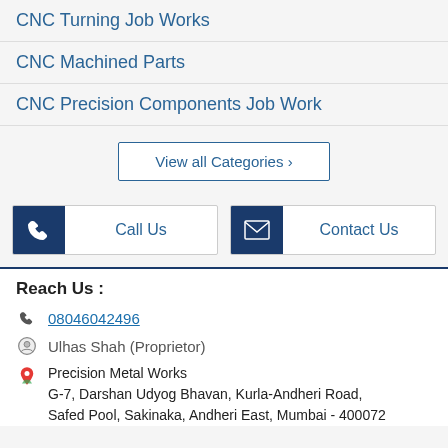CNC Turning Job Works
CNC Machined Parts
CNC Precision Components Job Work
View all Categories ›
Call Us
Contact Us
Reach Us :
08046042496
Ulhas Shah (Proprietor)
Precision Metal Works
G-7, Darshan Udyog Bhavan, Kurla-Andheri Road,
Safed Pool, Sakinaka, Andheri East, Mumbai - 400072